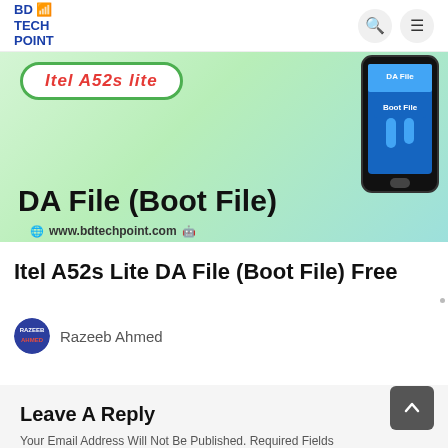BD TECH POINT
[Figure (illustration): Banner image showing 'Itel A52s Lite DA File (Boot File)' with a phone mockup and website URL www.bdtechpoint.com on a green gradient background]
Itel A52s Lite DA File (Boot File) Free
Razeeb Ahmed
Leave A Reply
Your Email Address Will Not Be Published. Required Fields